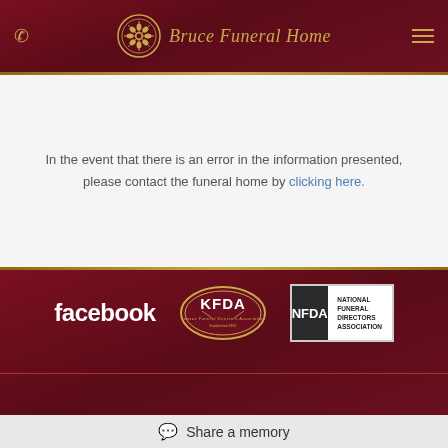[Figure (logo): Bruce Funeral Home header with ornate emblem, phone icon on left, hamburger menu on right, gold text on dark burgundy background]
In the event that there is an error in the information presented, please contact the funeral home by clicking here.
[Figure (logo): Facebook logo (white text on dark background), KFDA oval emblem, NFDA National Funeral Directors Association box logo]
Share a memory